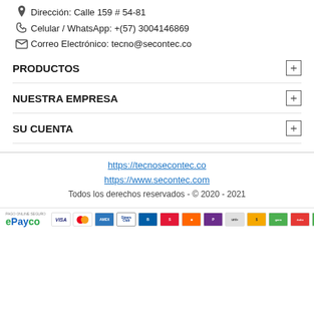Dirección: Calle 159 # 54-81
Celular / WhatsApp: +(57) 3004146869
Correo Electrónico: tecno@secontec.co
PRODUCTOS
NUESTRA EMPRESA
SU CUENTA
https://tecnosecontec.co
https://www.secontec.com
Todos los derechos reservados - © 2020 - 2021
[Figure (logo): ePayco logo and payment method icons including VISA, Mastercard, American Express, Diners Club, and others]